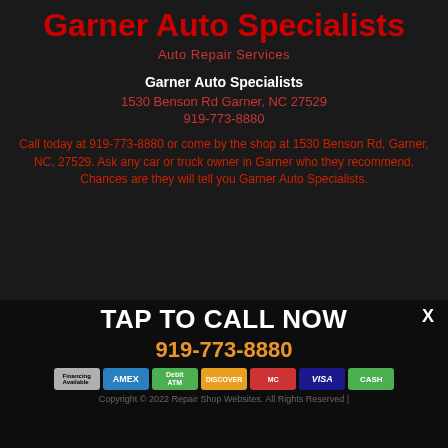Garner Auto Specialists
Auto Repair Services
Garner Auto Specialists
1530 Benson Rd Garner, NC 27529
919-773-8880
Call today at 919-773-8880 or come by the shop at 1530 Benson Rd, Garner, NC, 27529. Ask any car or truck owner in Garner who they recommend. Chances are they will tell you Garner Auto Specialists.
TAP TO CALL NOW
919-773-8880
[Figure (other): Payment method icons: Financing Available, American Express, Debit/ATM, Discover, Mastercard, Visa, Cash]
Copyright © 2022 Repair Shop Websites. All Rights Reserved |